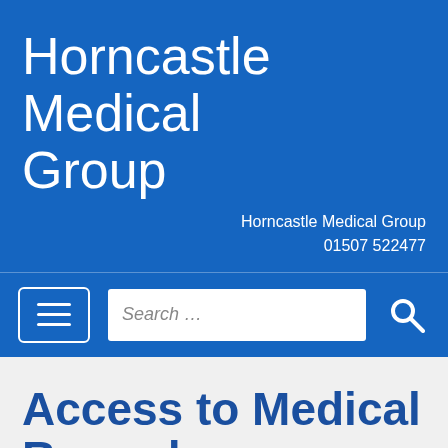Horncastle Medical Group
Horncastle Medical Group
01507 522477
[Figure (screenshot): Navigation bar with hamburger menu button and search field with search icon]
Access to Medical Records